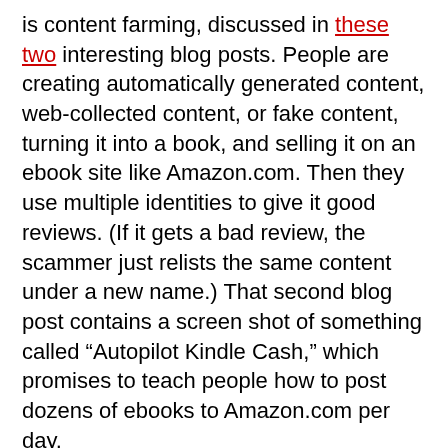is content farming, discussed in these two interesting blog posts. People are creating automatically generated content, web-collected content, or fake content, turning it into a book, and selling it on an ebook site like Amazon.com. Then they use multiple identities to give it good reviews. (If it gets a bad review, the scammer just relists the same content under a new name.) That second blog post contains a screen shot of something called “Autopilot Kindle Cash,” which promises to teach people how to post dozens of ebooks to Amazon.com per day.
The second type of fraud is stealing a book and selling it as an ebook. So someone could scan a real book and sell it on an ebook site, even though he doesn't own the copyright. It could be a book that isn’t already available as an ebook, or it could be a “low cost” version of a book that is already available. Amazon doesn't seem particularly motivated to deal with this sort of fraud. And it too is suitable for automation.
Broadly speaking, there’s nothing new here. All complex ecosystems have parasites, and every open communications system we’ve ever built gets overrun by scammers and